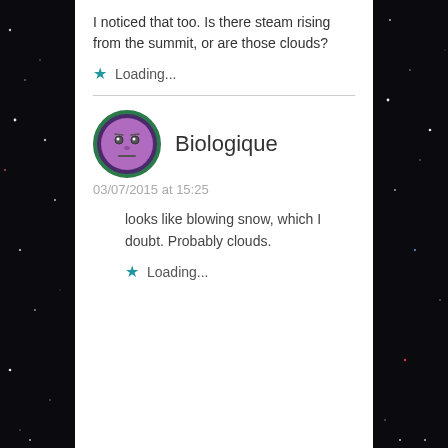I noticed that too. Is there steam rising from the summit, or are those clouds?
Loading...
Biologique
03/07/2015 at 15:25
looks like blowing snow, which I doubt. Probably clouds.
Loading...